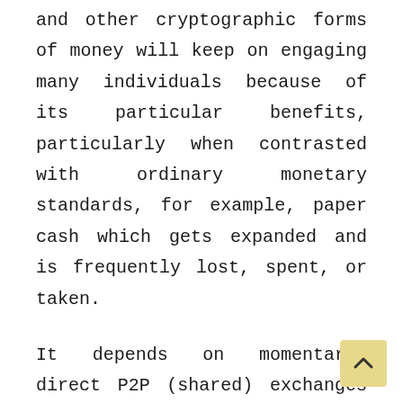and other cryptographic forms of money will keep on engaging many individuals because of its particular benefits, particularly when contrasted with ordinary monetary standards, for example, paper cash which gets expanded and is frequently lost, spent, or taken.
It depends on momentary, direct P2P (shared) exchanges to totally stay away from lumbering and costly electronic installment frameworks. Over the long haul, financial backers would find that Bitcoin conveys further developed store of significant worth than any sequentially printed lawful monetary